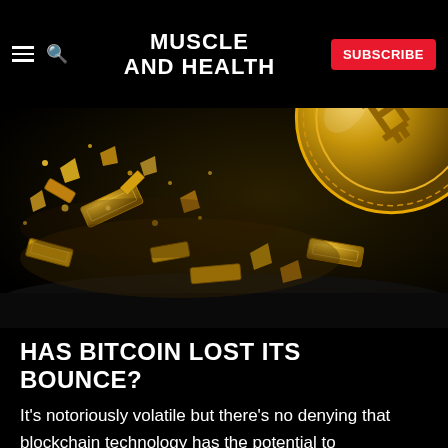MUSCLE AND HEALTH
[Figure (illustration): A dramatic close-up photo of a large gold Bitcoin coin shattering and exploding into fragments of gold bars and debris against a dark background.]
HAS BITCOIN LOST ITS BOUNCE?
It's notoriously volatile but there's no denying that blockchain technology has the potential to